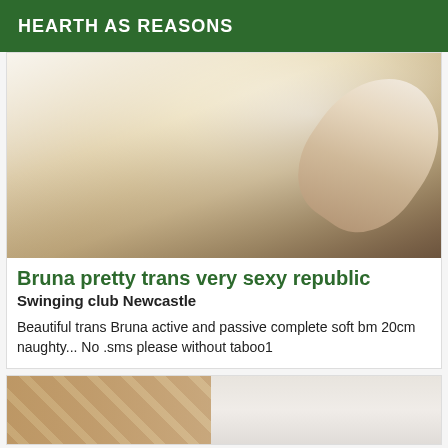HEARTH AS REASONS
[Figure (photo): Photo of a person viewed from an angled perspective]
Bruna pretty trans very sexy republic
Swinging club Newcastle
Beautiful trans Bruna active and passive complete soft bm 20cm naughty... No .sms please without taboo1
[Figure (photo): Partial photo showing a parquet floor and wall]